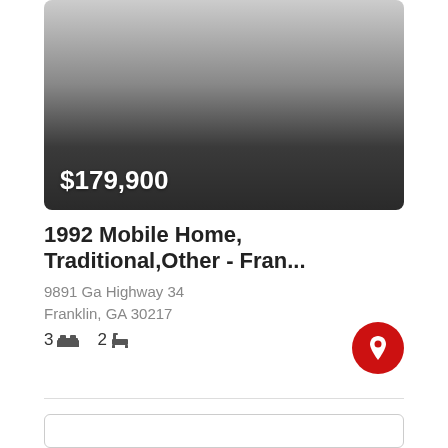[Figure (photo): Property listing photo with gradient overlay showing price]
$179,900
1992 Mobile Home, Traditional,Other - Fran...
9891 Ga Highway 34
Franklin, GA 30217
3 bed  2 bath
[Figure (other): Second listing card placeholder (partially visible)]